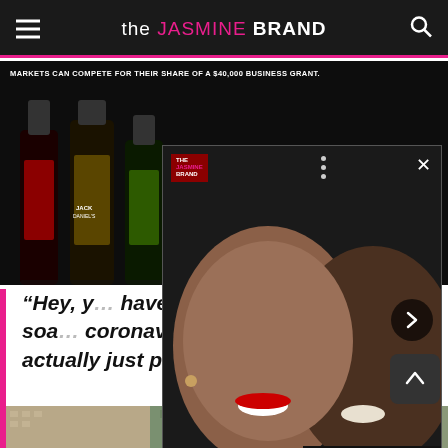the JASMINE BRAND
[Figure (screenshot): Advertisement banner showing Jack Daniel's whiskey bottles on dark background with text: MARKETS CAN COMPETE FOR THEIR SHARE OF A $40,000 BUSINESS GRANT. CLICK HERE FOR INFORMATION.]
[Figure (photo): Popup overlay showing a smiling woman with red lipstick and a smiling man in a black leather jacket, with a close (X) button and a right arrow navigation button. The Jasmine Brand logo appears in the upper left of the popup.]
“Hey, y… have t… can do… this m… of soa… coronavirus or any virus, it’s actually just pepper.”
[Figure (photo): Bottom strip showing urban apartment buildings, partially visible.]